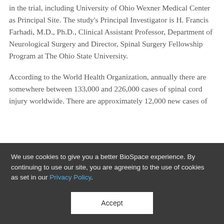in the trial, including University of Ohio Wexner Medical Center as Principal Site. The study's Principal Investigator is H. Francis Farhadi, M.D., Ph.D., Clinical Assistant Professor, Department of Neurological Surgery and Director, Spinal Surgery Fellowship Program at The Ohio State University.
According to the World Health Organization, annually there are somewhere between 133,000 and 226,000 cases of spinal cord injury worldwide. There are approximately 12,000 new cases of
We use cookies to give you a better BioSpace experience. By continuing to use our site, you are agreeing to the use of cookies as set in our Privacy Policy.
Accept